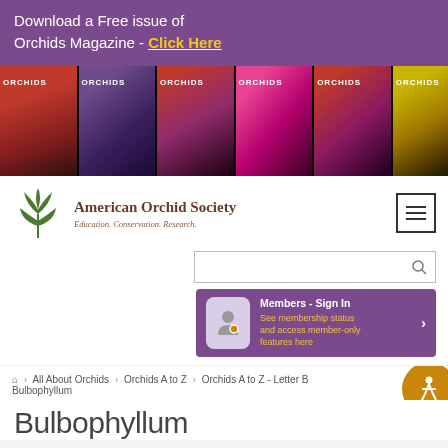Download a Free issue of Orchids Magazine - Click Here
[Figure (illustration): Row of six Orchids Magazine covers with colorful orchid photos on black backgrounds]
[Figure (logo): American Orchid Society logo — stylized green orchid plant icon with text: American Orchid Society, Education. Conservation. Research.]
[Figure (screenshot): Search bar with magnifying glass icon]
Members - Sign In
See membership status and access member-only features here
Home > All About Orchids > Orchids A to Z > Orchids A to Z - Letter B > Bulbophyllum
Bulbophyllum